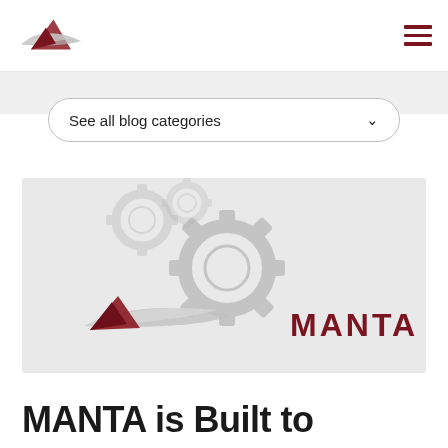MANTA logo and navigation menu
See all blog categories
[Figure (illustration): MANTA branded blog post hero image showing gear/cog icons in light gray on a light background, with the MANTA logo (red and silver swoosh/brush icon) in the lower left and the text 'MANTA' in dark red on the lower right]
MANTA is Built to